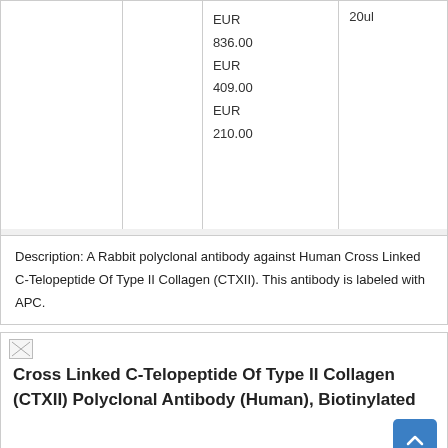|  |  | EUR
836.00
EUR
409.00
EUR
210.00 | 20ul |
Description: A Rabbit polyclonal antibody against Human Cross Linked C-Telopeptide Of Type II Collagen (CTXII). This antibody is labeled with APC.
Cross Linked C-Telopeptide Of Type II Collagen (CTXII) Polyclonal Antibody (Human), Biotinylated
|  |  |  |